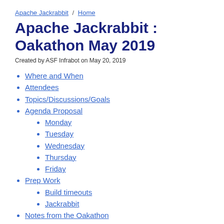Apache Jackrabbit / Home
Apache Jackrabbit : Oakathon May 2019
Created by ASF Infrabot on May 20, 2019
Where and When
Attendees
Topics/Discussions/Goals
Agenda Proposal
Monday
Tuesday
Wednesday
Thursday
Friday
Prep Work
Build timeouts
Jackrabbit
Notes from the Oakathon
Migrate Wiki
CI/CD
Async Commits